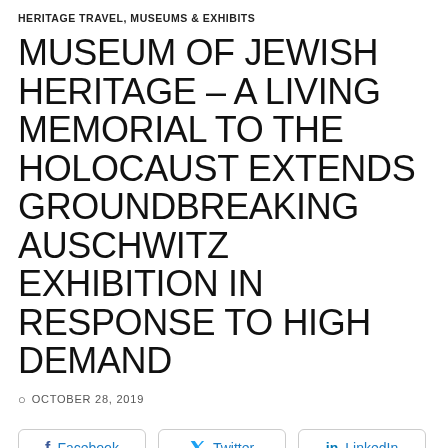HERITAGE TRAVEL, MUSEUMS & EXHIBITS
MUSEUM OF JEWISH HERITAGE – A LIVING MEMORIAL TO THE HOLOCAUST EXTENDS GROUNDBREAKING AUSCHWITZ EXHIBITION IN RESPONSE TO HIGH DEMAND
OCTOBER 28, 2019
Facebook  Twitter  LinkedIn
[Figure (photo): Interior photograph of museum exhibition space showing framed displays or entrance area]